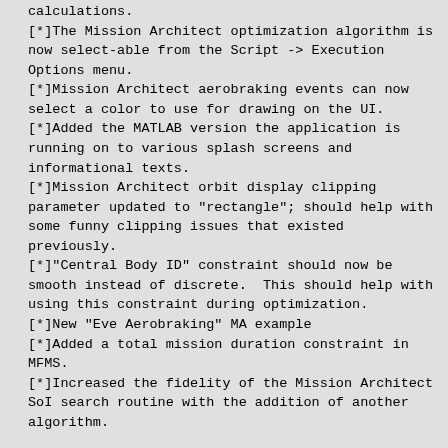calculations.
[*]The Mission Architect optimization algorithm is now select-able from the Script -> Execution Options menu.
[*]Mission Architect aerobraking events can now select a color to use for drawing on the UI.
[*]Added the MATLAB version the application is running on to various splash screens and informational texts.
[*]Mission Architect orbit display clipping parameter updated to "rectangle"; should help with some funny clipping issues that existed previously.
[*]"Central Body ID" constraint should now be smooth instead of discrete.  This should help with using this constraint during optimization.
[*]New "Eve Aerobraking" MA example
[*]Added a total mission duration constraint in MFMS.
[*]Increased the fidelity of the Mission Architect SoI search routine with the addition of another algorithm.